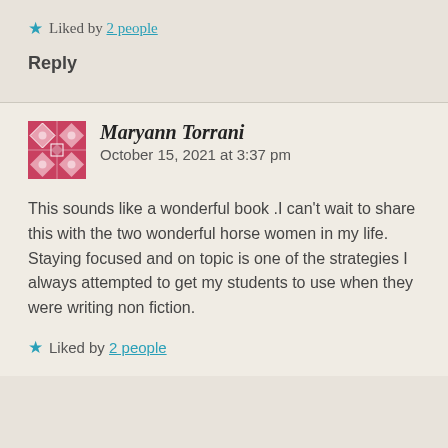★ Liked by 2 people
Reply
[Figure (illustration): Red decorative square avatar with geometric pattern for user Maryann Torrani]
Maryann Torrani  October 15, 2021 at 3:37 pm
This sounds like a wonderful book .I can't wait to share this with the two wonderful horse women in my life.
Staying focused and on topic is one of the strategies I always attempted to get my students to use when they were writing non fiction.
★ Liked by 2 people